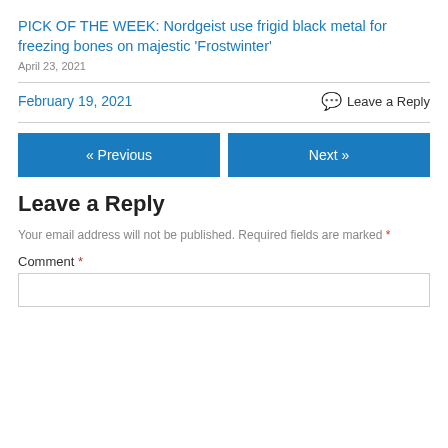PICK OF THE WEEK: Nordgeist use frigid black metal for freezing bones on majestic ‘Frostwinter’
April 23, 2021
February 19, 2021
Leave a Reply
« Previous
Next »
Leave a Reply
Your email address will not be published. Required fields are marked *
Comment *